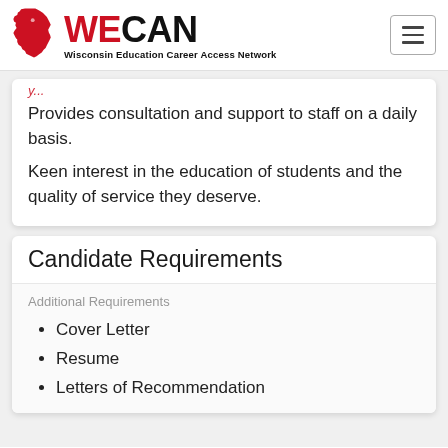WECAN - Wisconsin Education Career Access Network
Provides consultation and support to staff on a daily basis. Keen interest in the education of students and the quality of service they deserve.
Candidate Requirements
Additional Requirements
Cover Letter
Resume
Letters of Recommendation